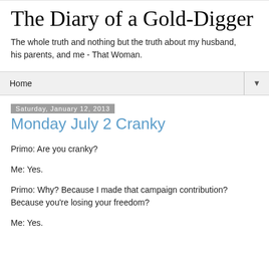The Diary of a Gold-Digger
The whole truth and nothing but the truth about my husband, his parents, and me - That Woman.
Home
Saturday, January 12, 2013
Monday July 2 Cranky
Primo: Are you cranky?
Me: Yes.
Primo: Why? Because I made that campaign contribution? Because you're losing your freedom?
Me: Yes.